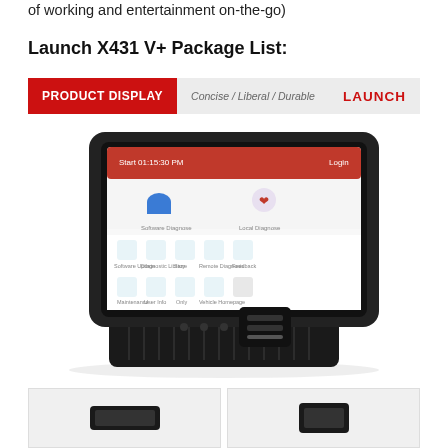of working and entertainment on-the-go)
Launch X431 V+ Package List:
[Figure (infographic): Product Display banner with red label reading PRODUCT DISPLAY, subtitle Concise / Liberal / Durable, and LAUNCH brand name in red on the right]
[Figure (photo): Launch X431 V+ automotive diagnostic tablet shown in its stand/holder with OBD connector attached, screen showing the diagnostic app interface with various icons]
[Figure (photo): Bottom thumbnail images showing accessories or package contents of the Launch X431 V+]